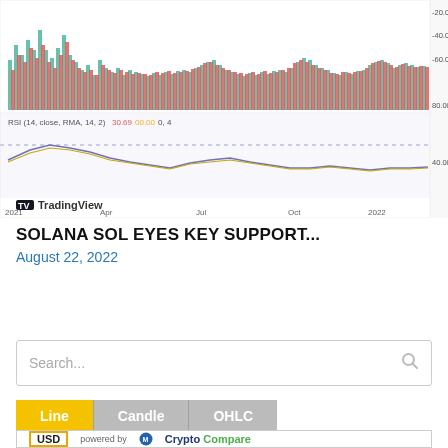[Figure (continuous-plot): TradingView RSI and volume chart for Solana SOL. Top section shows green and red vertical bars (volume), bottom section shows RSI (14, close, RMA, 14, 2) line with a dashed reference line around 60. X-axis shows dates from 2021 through 2023 (Apr, Jul, Oct, 2022, Apr, Jul, Oct, 2023). Y-axis shows values -20.00, -40.00, -60.00, 80.00, 40.00.]
TradingView
SOLANA SOL EYES KEY SUPPORT...
August 22, 2022
[Figure (screenshot): Search bar with placeholder text 'Search...' and a search icon on the right]
[Figure (screenshot): Widget with three tabs: Line (active, yellow background), Candle (gray), OHLC (gray). Below shows 'USD' in a yellow-bordered box and 'powered by CryptoCompare' logo.]